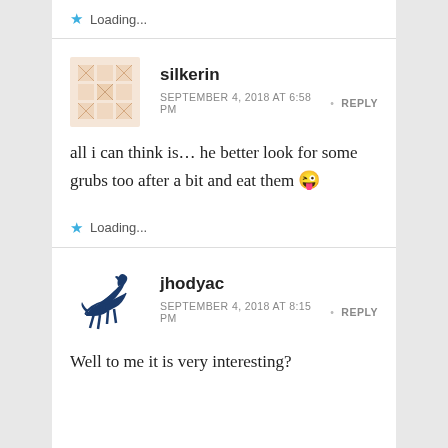Loading...
silkerin
SEPTEMBER 4, 2018 AT 6:58 PM • REPLY
all i can think is… he better look for some grubs too after a bit and eat them 😜
Loading...
jhodyac
SEPTEMBER 4, 2018 AT 8:15 PM • REPLY
Well to me it is very interesting?